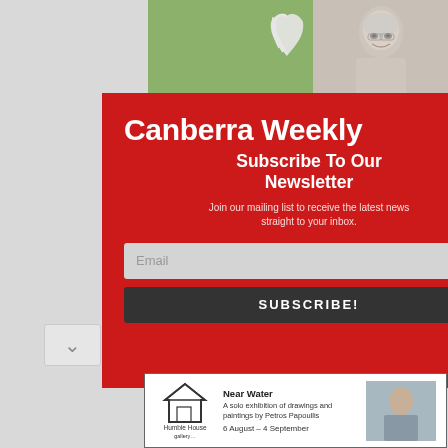[Figure (screenshot): Top banner with green background and white wave/feather logo icon on left, and elderly woman photo on right]
She ... nt for t... at they...
The ... Kos... e to
[Figure (screenshot): Modal popup with red background. Title: Canberra Weekly. Subtitle: Subscribe To Our Newsletter. Body: Join our mailing list to receive the latest news straight to your inbox. Email input field. SUBSCRIBE! button. Close X button in top-right corner.]
Canberra Weekly
Subscribe To Our Newsletter
Join our mailing list to receive the latest news straight to your inbox.
[Figure (infographic): Advertisement banner: Humble House Gallery logo, Near Water - A solo exhibition of drawings and paintings by Petros Papoullis, 6 August - 4 September, with photo of artist]